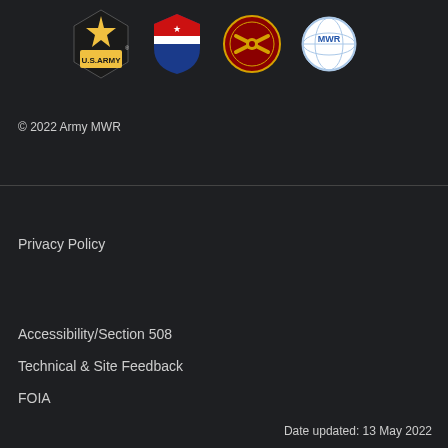[Figure (logo): Four logos in a row: U.S. Army star logo, a red-white-blue shield logo, a circular military unit logo, and a circular MWR globe logo]
© 2022 Army MWR
Privacy Policy
Accessibility/Section 508
Technical & Site Feedback
FOIA
Date updated: 13 May 2022